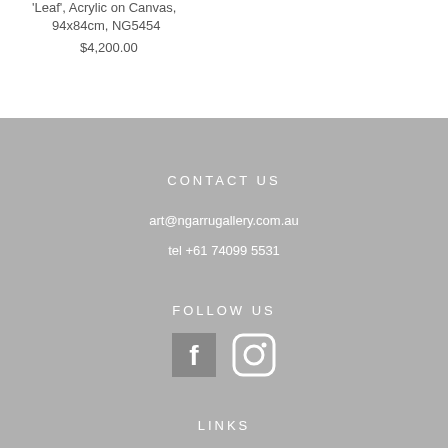'Leaf', Acrylic on Canvas, 94x84cm, NG5454
$4,200.00
CONTACT US
art@ngarrugallery.com.au
tel +61 74099 5531
FOLLOW US
[Figure (illustration): Facebook and Instagram social media icons in white on grey background]
LINKS